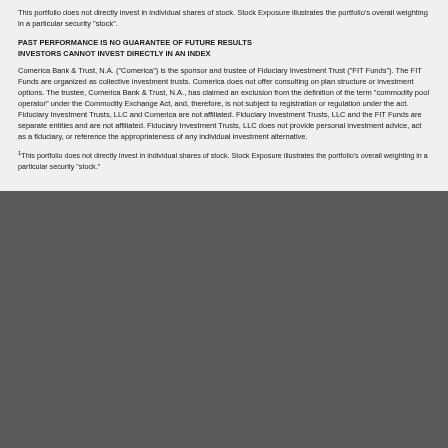This portfolio does not directly invest in individual shares of stock. Stock Exposure illustrates the portfolio's overall weighting in a particular security "stock".
PAST PERFORMANCE IS NO GUARANTEE OF FUTURE RESULTS INVESTORS CANNOT INVEST DIRECTLY IN AN INDEX
Comerica Bank & Trust, N.A. ("Comerica") is the sponsor and trustee of Fiduciary Investment Trust ("FIT Funds"). The FIT Funds are organized as collective investment trusts. Comerica does not offer consulting on plan structure or investment options. The trustee, Comerica Bank & Trust, N.A., has claimed an exclusion from the definition of the term "commodity pool operator" under the Commodity Exchange Act, and, therefore, is not subject to registration or regulation under the act. Fiduciary Investment Trusts, LLC and Comerica are not affiliated. Fiduciary Investment Trusts, LLC and the FIT Funds are separate entities and are not affiliated. Fiduciary Investment Trusts, LLC does not provide personal investment advice, act as a fiduciary, or reference the appropriateness of any individual investment alternative.
1This portfolio does not directly invest in individual shares of stock. Stock Exposure illustrates the portfolio's overall weighting in a particular security "stock".